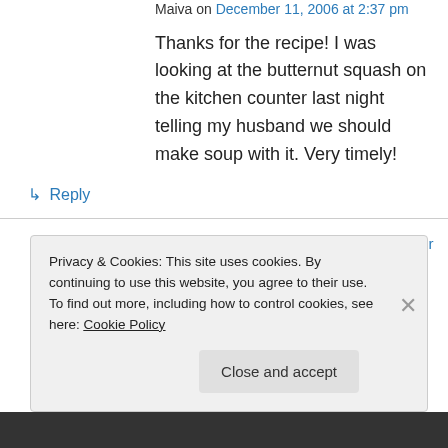Maiva on December 11, 2006 at 2:37 pm
Thanks for the recipe! I was looking at the butternut squash on the kitchen counter last night telling my husband we should make soup with it. Very timely!
↳ Reply
Too Nice for Her Own Good on December 11, 2006 at 5:36 pm
Privacy & Cookies: This site uses cookies. By continuing to use this website, you agree to their use.
To find out more, including how to control cookies, see here: Cookie Policy
Close and accept